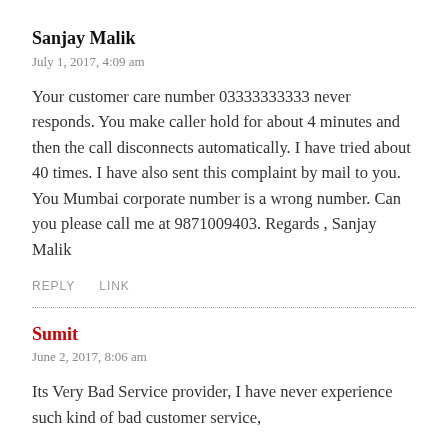Sanjay Malik
July 1, 2017, 4:09 am
Your customer care number 03333333333 never responds. You make caller hold for about 4 minutes and then the call disconnects automatically. I have tried about 40 times. I have also sent this complaint by mail to you. You Mumbai corporate number is a wrong number. Can you please call me at 9871009403. Regards , Sanjay Malik
REPLY   LINK
Sumit
June 2, 2017, 8:06 am
Its Very Bad Service provider, I have never experience such kind of bad customer service,